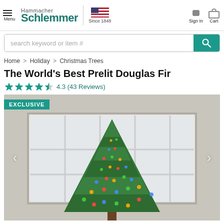Hammacher Schlemmer | Since 1848 | Sign In | Cart
search keyword or item #
Home > Holiday > Christmas Trees
The World's Best Prelit Douglas Fir
4.3 (43 Reviews)
[Figure (photo): EXCLUSIVE tag followed by a photo of a prelit artificial Douglas Fir Christmas tree decorated with multicolor lights, set against a window background.]